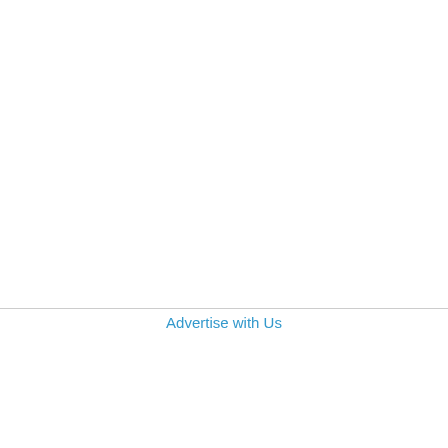Advertise with Us
[Figure (screenshot): Wayfair advertisement banner showing logo, 'Top Appliances Low Prices' text, an image of a stove/range appliance, and a 'Save on best selling brands that live up to the hype' message with a purple 'Shop now' button]